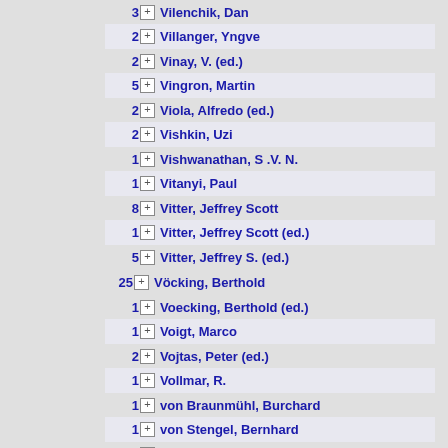3 Vilenchik, Dan
2 Villanger, Yngve
2 Vinay, V. (ed.)
5 Vingron, Martin
2 Viola, Alfredo (ed.)
2 Vishkin, Uzi
1 Vishwanathan, S .V. N.
1 Vitanyi, Paul
8 Vitter, Jeffrey Scott
1 Vitter, Jeffrey Scott (ed.)
5 Vitter, Jeffrey S. (ed.)
25 Vöcking, Berthold
1 Voecking, Berthold (ed.)
1 Voigt, Marco
2 Vojtas, Peter (ed.)
1 Vollmar, R.
1 von Braunmühl, Burchard
1 von Stengel, Bernhard
1 von Zülow, Max Henning
1 Voorhees, Ellen M. (ed.)
2 Vorozhtsov, Evgenii V. (ed.)
1 Vorozhtsov, Evgenii (ed.)